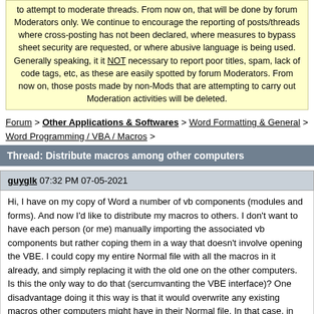to attempt to moderate threads. From now on, that will be done by forum Moderators only. We continue to encourage the reporting of posts/threads where cross-posting has not been declared, where measures to bypass sheet security are requested, or where abusive language is being used. Generally speaking, it it NOT necessary to report poor titles, spam, lack of code tags, etc, as these are easily spotted by forum Moderators. From now on, those posts made by non-Mods that are attempting to carry out Moderation activities will be deleted.
Forum > Other Applications & Softwares > Word Formatting & General > Word Programming / VBA / Macros >
Thread: Distribute macros among other computers
guyglk 07:32 PM 07-05-2021
Hi, I have on my copy of Word a number of vb components (modules and forms). And now I'd like to distribute my macros to others. I don't want to have each person (or me) manually importing the associated vb components but rather coping them in a way that doesn't involve opening the VBE. I could copy my entire Normal file with all the macros in it already, and simply replacing it with the old one on the other computers. Is this the only way to do that (sercumvanting the VBE interface)? One disadvantage doing it this way is that it would overwrite any existing macros other computers might have in their Normal file. In that case, in order to keep them as well, they will have to be imported via the VBE, right?

Is the a way to maybe make an exe that does it - replacing the Normal file with another that has more and to auto-position? Is it doable?